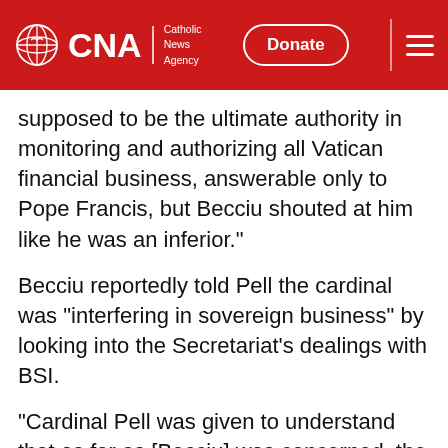CNA | Catholic News Agency – Donate [button] [menu]
supposed to be the ultimate authority in monitoring and authorizing all Vatican financial business, answerable only to Pope Francis, but Becciu shouted at him like he was an inferior."
Becciu reportedly told Pell the cardinal was "interfering in sovereign business" by looking into the Secretariat's dealings with BSI.
"Cardinal Pell was given to understand that as far as [Becciu] was concerned, the prefect was basically an administrative clerk and a rubber stamp, no more."
Cardinal Becciu declined to answer questions